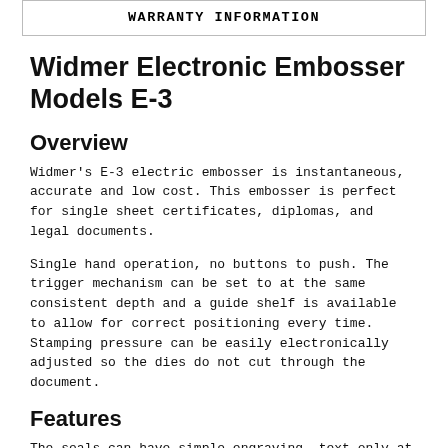WARRANTY INFORMATION
Widmer Electronic Embosser Models E-3
Overview
Widmer's E-3 electric embosser is instantaneous, accurate and low cost. This embosser is perfect for single sheet certificates, diplomas, and legal documents.
Single hand operation, no buttons to push. The trigger mechanism can be set to at the same consistent depth and a guide shelf is available to allow for correct positioning every time. Stamping pressure can be easily electronically adjusted so the dies do not cut through the document.
Features
The seals can have simple engraving, text only at the base price or complex designs or crests. Seals can print on the